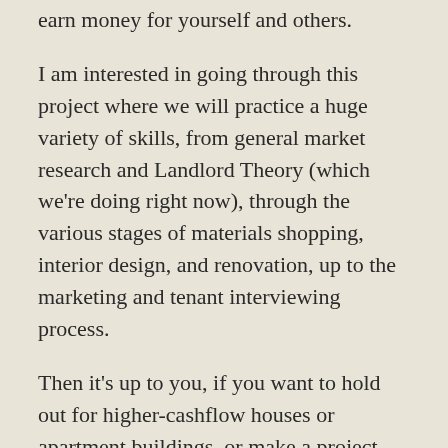earn money for yourself and others.
I am interested in going through this project where we will practice a huge variety of skills, from general market research and Landlord Theory (which we're doing right now), through the various stages of materials shopping, interior design, and renovation, up to the marketing and tenant interviewing process.
Then it's up to you, if you want to hold out for higher-cashflow houses or apartment buildings, or make a project out of a less-cheap house right in your own area as I'm doing.
My friend and I have over 25 property-years of rental house management experience together, and we've been through several dozen successful tenants, as well as an educational number of disastrous ones. Not as many as the Biggerpockets landlords, but enough to know how to